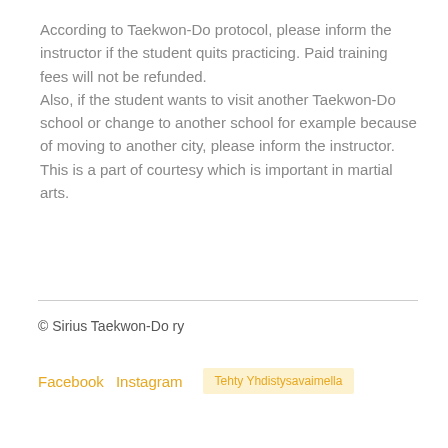According to Taekwon-Do protocol, please inform the instructor if the student quits practicing. Paid training fees will not be refunded. Also, if the student wants to visit another Taekwon-Do school or change to another school for example because of moving to another city, please inform the instructor. This is a part of courtesy which is important in martial arts.
© Sirius Taekwon-Do ry
Facebook  Instagram  Tehty Yhdistysavaimella